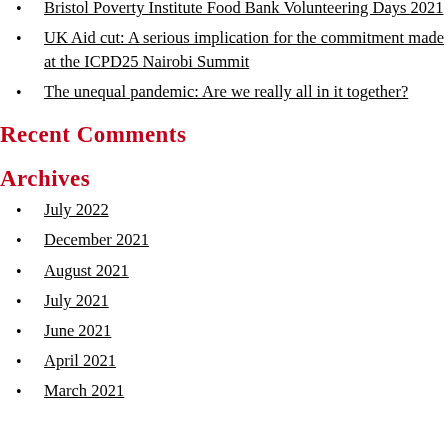Bristol Poverty Institute Food Bank Volunteering Days 2021
UK Aid cut: A serious implication for the commitment made at the ICPD25 Nairobi Summit
The unequal pandemic: Are we really all in it together?
Recent Comments
Archives
July 2022
December 2021
August 2021
July 2021
June 2021
April 2021
March 2021